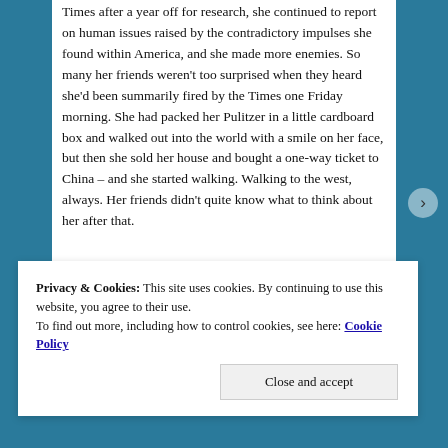Times after a year off for research, she continued to report on human issues raised by the contradictory impulses she found within America, and she made more enemies. So many her friends weren't too surprised when they heard she'd been summarily fired by the Times one Friday morning. She had packed her Pulitzer in a little cardboard box and walked out into the world with a smile on her face, but then she sold her house and bought a one-way ticket to China – and she started walking. Walking to the west, always. Her friends didn't quite know what to think about her after that.
Privacy & Cookies: This site uses cookies. By continuing to use this website, you agree to their use. To find out more, including how to control cookies, see here: Cookie Policy
Close and accept